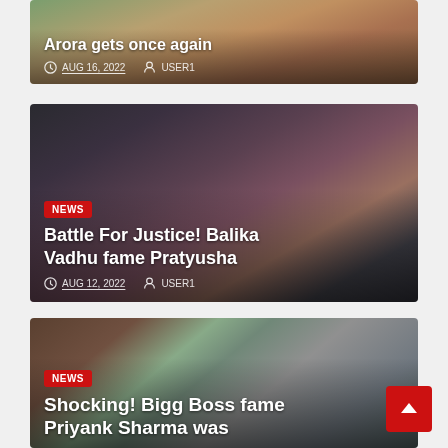[Figure (photo): Partial article card at top showing a woman with text overlay: title ending in 'Arora gets once again', dated AUG 16, 2022 by USER1]
Arora gets once again
AUG 16, 2022   USER1
[Figure (photo): Article card showing a woman with dark wavy hair, smiling, with NEWS badge and title 'Battle For Justice! Balika Vadhu fame Pratyusha', dated AUG 12, 2022 by USER1]
Battle For Justice! Balika Vadhu fame Pratyusha
AUG 12, 2022   USER1
[Figure (photo): Article card showing a young man smiling, with NEWS badge and partial title 'Shocking! Bigg Boss fame Priyank Sharma was']